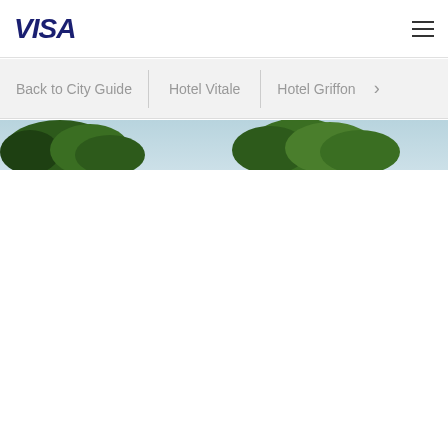VISA
Back to City Guide    Hotel Vitale    Hotel Griffon >
[Figure (photo): Partial outdoor photo showing trees against a light blue sky, cropped at the top of the page content area]